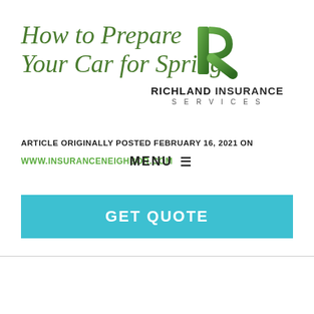How to Prepare Your Car for Spring
[Figure (logo): Richland Insurance Services logo with green R icon and company name]
ARTICLE ORIGINALLY POSTED FEBRUARY 16, 2021 ON
WWW.INSURANCENEIGHBOR.COM
MENU ≡
GET QUOTE